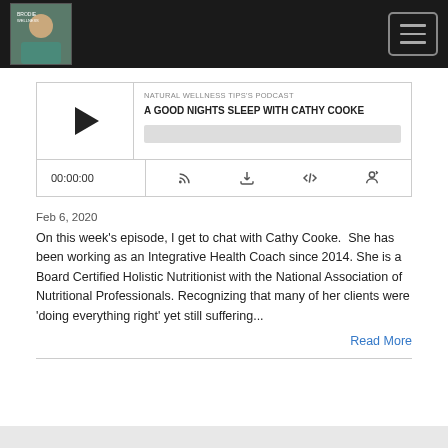Natural Wellness Tips's Podcast — Navigation bar with logo and menu button
[Figure (screenshot): Podcast audio player widget with play button, episode title 'A GOOD NIGHTS SLEEP WITH CATHY COOKE', podcast label 'NATURAL WELLNESS TIPS'S PODCAST', progress bar, time display 00:00:00, and control icons for cast, download, embed, and share]
Feb 6, 2020
On this week's episode, I get to chat with Cathy Cooke.  She has been working as an Integrative Health Coach since 2014. She is a Board Certified Holistic Nutritionist with the National Association of Nutritional Professionals. Recognizing that many of her clients were 'doing everything right' yet still suffering...
Read More